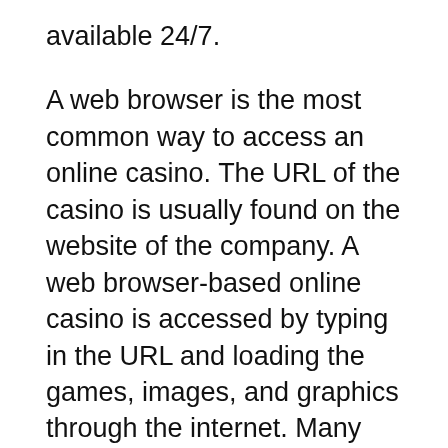available 24/7.
A web browser is the most common way to access an online casino. The URL of the casino is usually found on the website of the company. A web browser-based online casino is accessed by typing in the URL and loading the games, images, and graphics through the internet. Many people prefer this option because it offers the maximum flexibility and allows them to login from different computers. Furthermore, web browsers don’t require downloading any software to play.
Besides being convenient, an online casino newsletter can also keep you informed of any promotions. Such newsletters are great for keeping